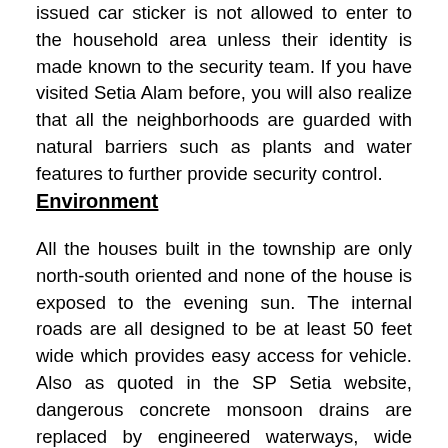issued car sticker is not allowed to enter to the household area unless their identity is made known to the security team. If you have visited Setia Alam before, you will also realize that all the neighborhoods are guarded with natural barriers such as plants and water features to further provide security control.
Environment
All the houses built in the township are only north-south oriented and none of the house is exposed to the evening sun. The internal roads are all designed to be at least 50 feet wide which provides easy access for vehicle. Also as quoted in the SP Setia website, dangerous concrete monsoon drains are replaced by engineered waterways, wide gentle sloping and meandering earth drains, and retention ponds to be in line to the Manual Saliran Mesra Alam Malaysia. Within the